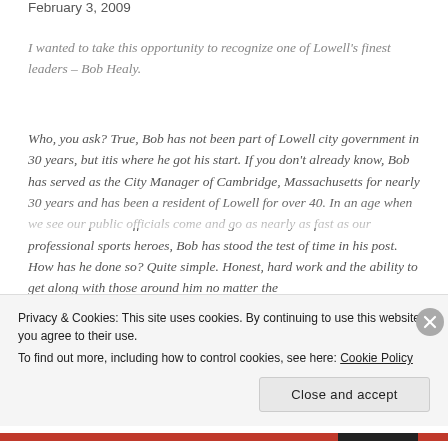February 3, 2009
I wanted to take this opportunity to recognize one of Lowell’s finest leaders – Bob Healy.
Who, you ask? True, Bob has not been part of Lowell city government in 30 years, but itis where he got his start. If you don’t already know, Bob has served as the City Manager of Cambridge, Massachusetts for nearly 30 years and has been a resident of Lowell for over 40. In an age when we see our public officials come and go as nearly as fast as our professional sports heroes, Bob has stood the test of time in his post. How has he done so? Quite simple. Honest, hard work and the ability to get along with those around him no matter the
Privacy & Cookies: This site uses cookies. By continuing to use this website, you agree to their use.
To find out more, including how to control cookies, see here: Cookie Policy
Close and accept